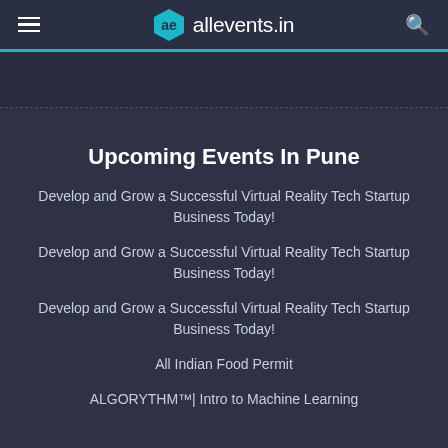allevents.in
Upcoming Events In Pune
Develop and Grow a Successful Virtual Reality Tech Startup Business Today!
Develop and Grow a Successful Virtual Reality Tech Startup Business Today!
Develop and Grow a Successful Virtual Reality Tech Startup Business Today!
All Indian Food Permit
ALGORYTHM™| Intro to Machine Learning